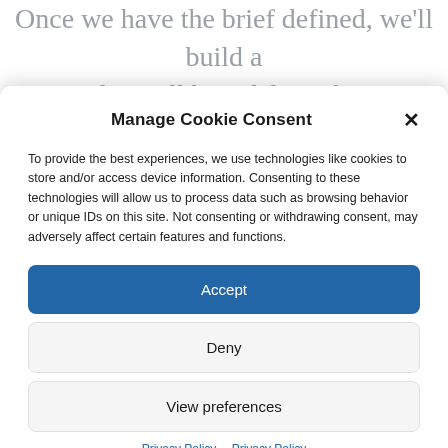Once we have the brief defined, we'll build a team that will best deliver for you.
Manage Cookie Consent
To provide the best experiences, we use technologies like cookies to store and/or access device information. Consenting to these technologies will allow us to process data such as browsing behavior or unique IDs on this site. Not consenting or withdrawing consent, may adversely affect certain features and functions.
Accept
Deny
View preferences
Privacy Policy  Privacy Policy